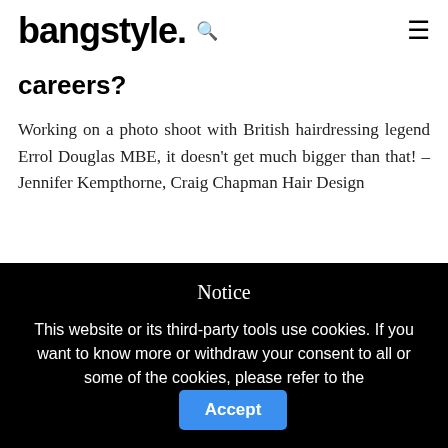bangstyle.
careers?
Working on a photo shoot with British hairdressing legend Errol Douglas MBE, it doesn't get much bigger than that! – Jennifer Kempthorne, Craig Chapman Hair Design
Notice
This website or its third-party tools use cookies. If you want to know more or withdraw your consent to all or some of the cookies, please refer to the
Accept